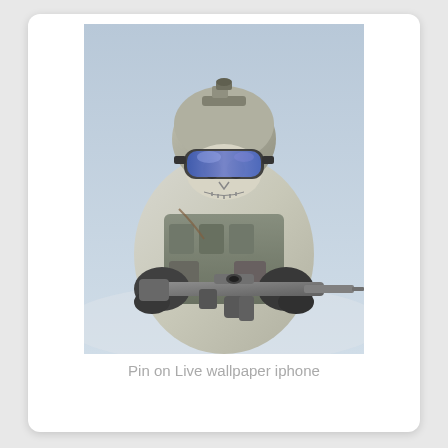[Figure (photo): A soldier or military operator in winter/arctic camouflage gear, wearing a tactical helmet with mounted equipment, blue-tinted goggles, and a skull-patterned face mask, aiming an assault rifle directly at the camera. The figure is dressed in white and grey camo with tactical vest and pouches.]
Pin on Live wallpaper iphone